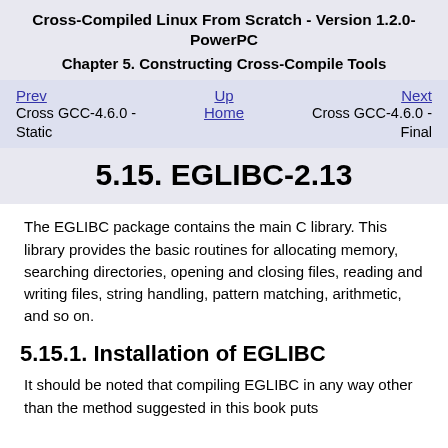Cross-Compiled Linux From Scratch - Version 1.2.0-PowerPC
Chapter 5. Constructing Cross-Compile Tools
Prev  Cross GCC-4.6.0 - Static    Up  Home    Next  Cross GCC-4.6.0 - Final
5.15. EGLIBC-2.13
The EGLIBC package contains the main C library. This library provides the basic routines for allocating memory, searching directories, opening and closing files, reading and writing files, string handling, pattern matching, arithmetic, and so on.
5.15.1. Installation of EGLIBC
It should be noted that compiling EGLIBC in any way other than the method suggested in this book puts